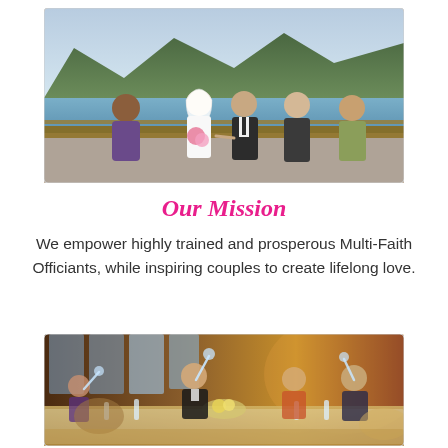[Figure (photo): Outdoor wedding ceremony on a lakeside deck with mountains in background. A couple holds hands as an officiant performs the ceremony, with two guests watching.]
Our Mission
We empower highly trained and prosperous Multi-Faith Officiants, while inspiring couples to create lifelong love.
[Figure (photo): Wedding reception dinner with guests raising champagne glasses in a toast around a decorated table in a warm, dimly lit restaurant.]